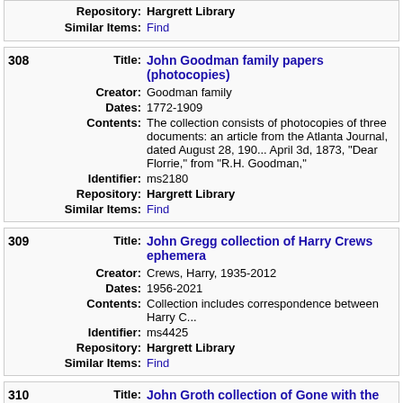| Repository: | Hargrett Library |
| Similar Items: | Find |
| 308 | Title: | John Goodman family papers (photocopies) |
|  | Creator: | Goodman family |
|  | Dates: | 1772-1909 |
|  | Contents: | The collection consists of photocopies of three docu... article from the Atlanta Journal, dated August 28, 190... April 3d, 1873, "Dear Florrie," from "R.H. Goodman," |
|  | Identifier: | ms2180 |
|  | Repository: | Hargrett Library |
|  | Similar Items: | Find |
| 309 | Title: | John Gregg collection of Harry Crews ephemera |
|  | Creator: | Crews, Harry, 1935-2012 |
|  | Dates: | 1956-2021 |
|  | Contents: | Collection includes correspondence between Harry C... |
|  | Identifier: | ms4425 |
|  | Repository: | Hargrett Library |
|  | Similar Items: | Find |
| 310 | Title: | John Groth collection of Gone with the Wind illus... |
|  | Creator: | Groth, John, 1908-1988 |